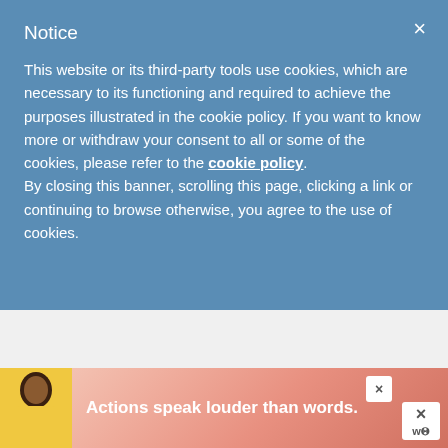Notice
This website or its third-party tools use cookies, which are necessary to its functioning and required to achieve the purposes illustrated in the cookie policy. If you want to know more or withdraw your consent to all or some of the cookies, please refer to the cookie policy. By closing this banner, scrolling this page, clicking a link or continuing to browse otherwise, you agree to the use of cookies.
ABOUT HEIDI
Heidi Gustad is a craft book author
[Figure (photo): Person in orange shirt, photo for About Heidi section]
[Figure (photo): Advertisement banner with person and text 'Actions speak louder than words.']